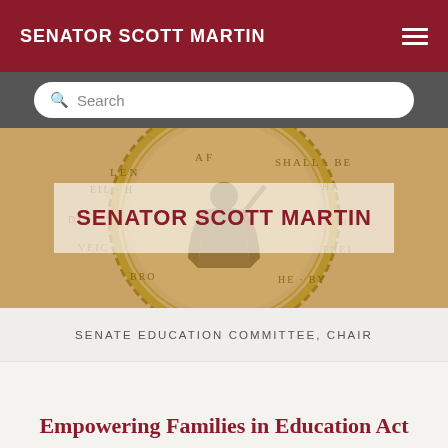SENATOR SCOTT MARTIN
[Figure (screenshot): Search bar UI element with magnifying glass icon and placeholder text 'Search']
[Figure (illustration): Minnesota State Capitol or Senate seal decorative gold embossed illustration with a robed figure and inscribed text]
SENATOR SCOTT MARTIN
SENATE EDUCATION COMMITTEE, CHAIR
Empowering Families in Education Act